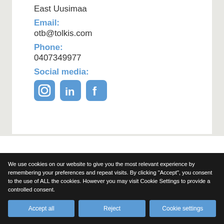East Uusimaa
Email:
otb@tolkis.com
Phone:
0407349977
Social media:
[Figure (illustration): Social media icons: Instagram, LinkedIn, Facebook]
We use cookies on our website to give you the most relevant experience by remembering your preferences and repeat visits. By clicking “Accept”, you consent to the use of ALL the cookies. However you may visit Cookie Settings to provide a controlled consent.
Accept all
Reject
Cookie settings